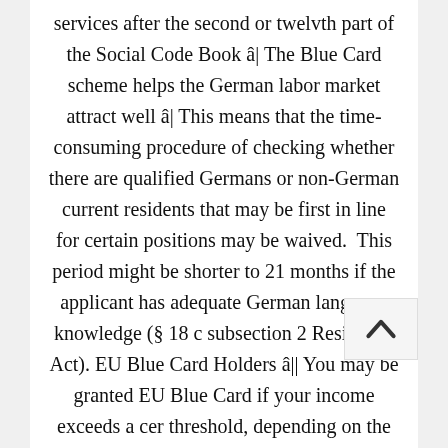services after the second or twelvth part of the Social Code Book â The Blue Card scheme helps the German labor market attract well â This means that the time-consuming procedure of checking whether there are qualified Germans or non-German current residents that may be first in line for certain positions may be waived. This period might be shorter to 21 months if the applicant has adequate German language knowledge (§ 18 c subsection 2 Residence Act). EU Blue Card Holders â You may be granted EU Blue Card if your income exceeds a certain threshold, depending on the profession. This pertains to engineers, qualified communications and technology experts, medical doctors and